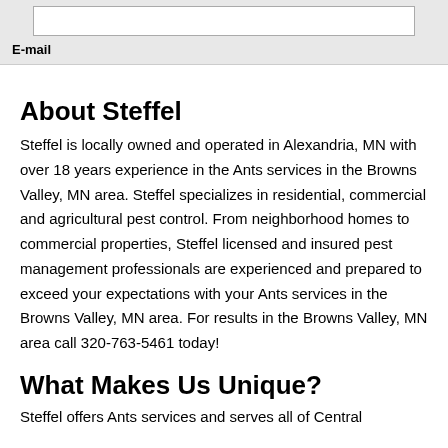E-mail
About Steffel
Steffel is locally owned and operated in Alexandria, MN with over 18 years experience in the Ants services in the Browns Valley, MN area. Steffel specializes in residential, commercial and agricultural pest control. From neighborhood homes to commercial properties, Steffel licensed and insured pest management professionals are experienced and prepared to exceed your expectations with your Ants services in the Browns Valley, MN area. For results in the Browns Valley, MN area call 320-763-5461 today!
What Makes Us Unique?
Steffel offers Ants services and serves all of Central